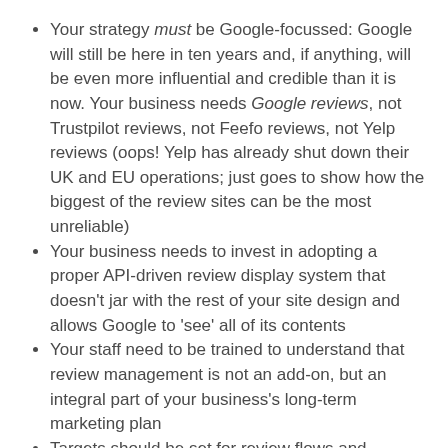Your strategy must be Google-focussed: Google will still be here in ten years and, if anything, will be even more influential and credible than it is now. Your business needs Google reviews, not Trustpilot reviews, not Feefo reviews, not Yelp reviews (oops! Yelp has already shut down their UK and EU operations; just goes to show how the biggest of the review sites can be the most unreliable)
Your business needs to invest in adopting a proper API-driven review display system that doesn't jar with the rest of your site design and allows Google to 'see' all of its contents
Your staff need to be trained to understand that review management is not an add-on, but an integral part of your business's long-term marketing plan
Targets should be set for review flows and scores; few things look less professional or risk a